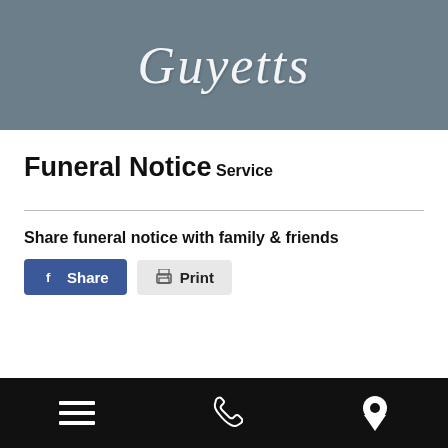Guyetts
Funeral Notice
Service
Share funeral notice with family & friends
Share   Print
menu  phone  location